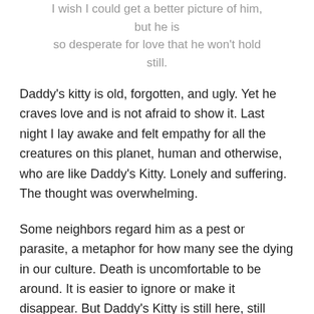I wish I could get a better picture of him, but he is so desperate for love that he won't hold still.
Daddy's kitty is old, forgotten, and ugly. Yet he craves love and is not afraid to show it. Last night I lay awake and felt empathy for all the creatures on this planet, human and otherwise, who are like Daddy's Kitty. Lonely and suffering. The thought was overwhelming.
Some neighbors regard him as a pest or parasite, a metaphor for how many see the dying in our culture. Death is uncomfortable to be around. It is easier to ignore or make it disappear. But Daddy's Kitty is still here, still living, still wanting to be acknowledged, loved, and kept company.
And, who am I to end his suffering if it is part of his journey, part of the life we all live and the end we will